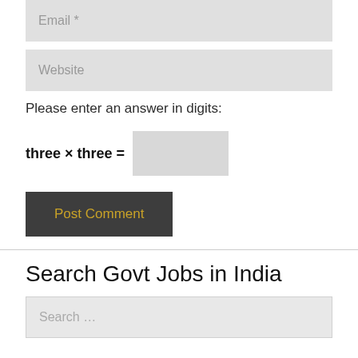Email *
Website
Please enter an answer in digits:
Post Comment
Search Govt Jobs in India
Search ...